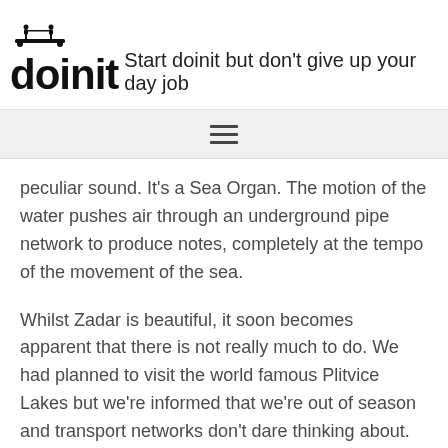doinit — Start doinit but don't give up your day job
peculiar sound. It's a Sea Organ. The motion of the water pushes air through an underground pipe network to produce notes, completely at the tempo of the movement of the sea.
Whilst Zadar is beautiful, it soon becomes apparent that there is not really much to do. We had planned to visit the world famous Plitvice Lakes but we're informed that we're out of season and transport networks don't dare thinking about. Further discouragement comes that evening as its reported that the weather is about to turn wet, very wet. Reluctantly decide to forgo the chance for the lakes and instead head a day earlier then planed